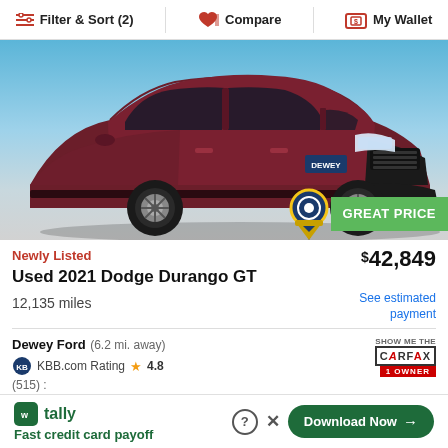Filter & Sort (2)   Compare   My Wallet
[Figure (photo): Maroon/dark red 2021 Dodge Durango GT SUV, front 3/4 view, photographed against a blue and grey background with DEWEY dealership badge visible]
GREAT PRICE
Newly Listed
$42,849
Used 2021 Dodge Durango GT
12,135 miles
See estimated payment
Dewey Ford  (6.2 mi. away)
KBB.com Rating  ★ 4.8
(515)
[Figure (logo): SHOW ME THE CARFAX 1 OWNER badge]
Fast credit card payoff
Download Now →